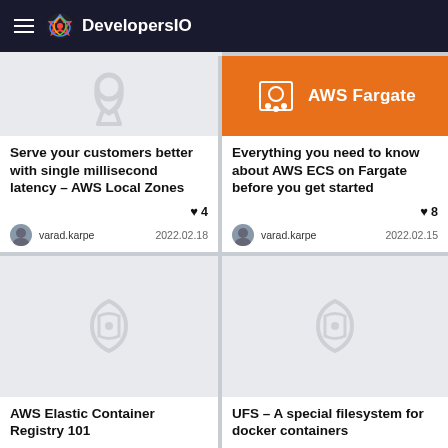DevelopersIO
[Figure (screenshot): Article card: image placeholder with ghost icon (top-left)]
Serve your customers better with single millisecond latency – AWS Local Zones
♥ 4  varad.karpe  2022.02.18
[Figure (screenshot): Article card: orange AWS Fargate banner image (top-right)]
Everything you need to know about AWS ECS on Fargate before you get started
♥ 8  varad.karpe  2022.02.15
[Figure (screenshot): Article card image placeholder with ghost icon (bottom-left)]
AWS Elastic Container Registry 101
[Figure (screenshot): Article card image placeholder with ghost icon (bottom-right)]
UFS – A special filesystem for docker containers